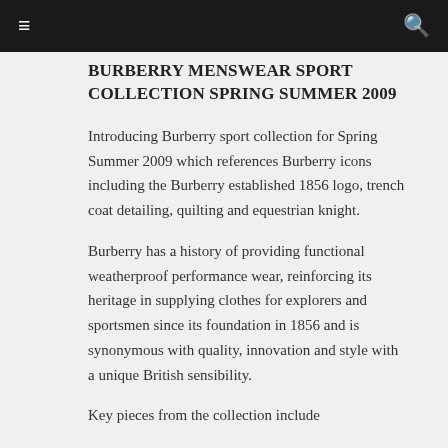≡  🔍
BURBERRY MENSWEAR SPORT COLLECTION SPRING SUMMER 2009
Introducing Burberry sport collection for Spring Summer 2009 which references Burberry icons including the Burberry established 1856 logo, trench coat detailing, quilting and equestrian knight.
Burberry has a history of providing functional weatherproof performance wear, reinforcing its heritage in supplying clothes for explorers and sportsmen since its foundation in 1856 and is synonymous with quality, innovation and style with a unique British sensibility.
Key pieces from the collection include